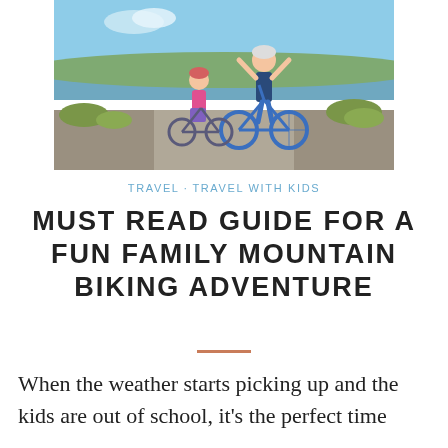[Figure (photo): A parent and child standing with bikes on a path near water and grassy dunes on a sunny day. The adult has arms raised in a celebratory pose. Both are wearing helmets.]
TRAVEL   TRAVEL WITH KIDS
MUST READ GUIDE FOR A FUN FAMILY MOUNTAIN BIKING ADVENTURE
When the weather starts picking up and the kids are out of school, it's the perfect time